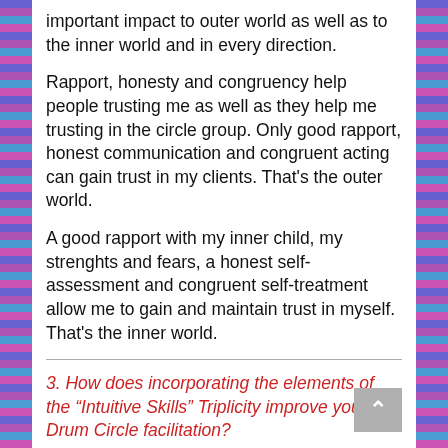important impact to outer world as well as to the inner world and in every direction.
Rapport, honesty and congruency help people trusting me as well as they help me trusting in the circle group. Only good rapport, honest communication and congruent acting can gain trust in my clients. That's the outer world.
A good rapport with my inner child, my strenghts and fears, a honest self-assessment and congruent self-treatment allow me to gain and maintain trust in myself. That's the inner world.
3. How does incorporating the elements of the “Intuitive Skills” Triplicity improve your Drum Circle facilitation?
It is the moment after centuries of facilitation when